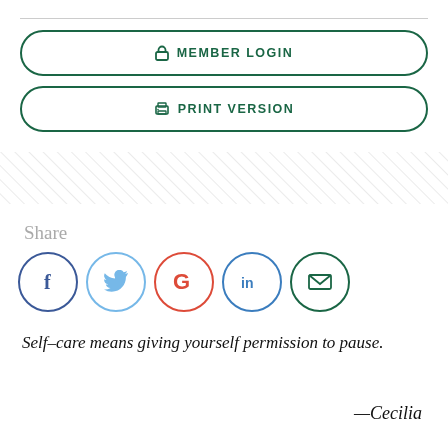[Figure (other): Member Login button — rounded rectangle with dark green border, lock icon, text MEMBER LOGIN in dark green caps]
[Figure (other): Print Version button — rounded rectangle with dark green border, printer icon, text PRINT VERSION in dark green caps]
[Figure (other): Diagonal hatching / divider pattern strip]
Share
[Figure (other): Social sharing icons row: Facebook (f, dark blue circle), Twitter (bird, light blue circle), Google+ (G, red circle), LinkedIn (in, steel blue circle), Email (envelope, dark green circle)]
Self–care means giving yourself permission to pause.
—Cecilia